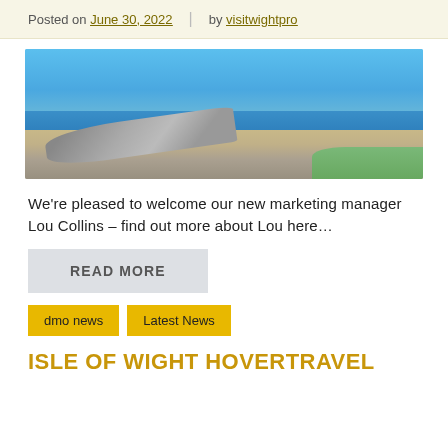Posted on June 30, 2022 | by visitwightpro
[Figure (photo): Coastal scene with a boat on a rocky/pebbly shore, sea and sky in background, with reeds and grass visible]
We're pleased to welcome our new marketing manager Lou Collins – find out more about Lou here…
READ MORE
dmo news   Latest News
ISLE OF WIGHT HOVERTRAVEL